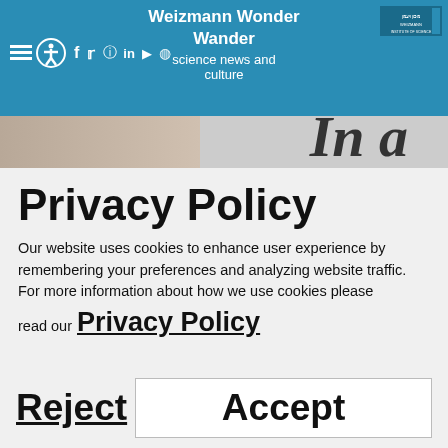Weizmann Wonder Wander — science news and culture
[Figure (screenshot): Partial banner image with large italic text 'In a']
Privacy Policy
Our website uses cookies to enhance user experience by remembering your preferences and analyzing website traffic.
For more information about how we use cookies please read our Privacy Policy
Reject  Accept